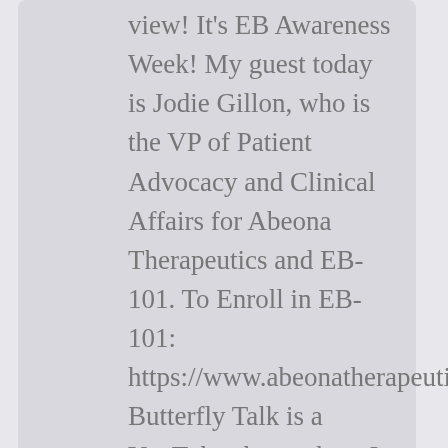view! It's EB Awareness Week! My guest today is Jodie Gillon, who is the VP of Patient Advocacy and Clinical Affairs for Abeona Therapeutics and EB-101. To Enroll in EB-101: https://www.abeonatherapeutics.com/cl... Butterfly Talk is a YouTube show where I talk mom to mom...
[Figure (infographic): Row of social media share buttons: Facebook (dark blue circle), Twitter (light blue circle), Pinterest (dark red circle), Reddit (orange circle), LinkedIn (teal/blue circle), Tumblr (dark gray circle), Email/envelope (gray circle)]
Read More
Blog / Butterly Talk YouTube Show